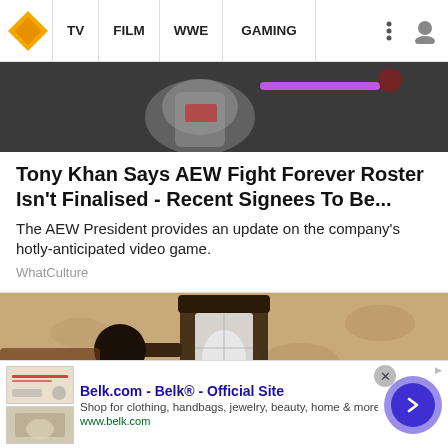TV | FILM | WWE | GAMING
[Figure (screenshot): Top portion of an article image showing a wrestling/AEW themed visual with purple lighting and a metallic trophy or belt element]
Tony Khan Says AEW Fight Forever Roster Isn't Finalised - Recent Signees To Be...
The AEW President provides an update on the company's hotly-anticipated video game.
WhatCulture
[Figure (photo): Photo of a vintage-style outdoor wall lantern mounted on a textured stucco wall]
Belk.com - Belk® - Official Site
Shop for clothing, handbags, jewelry, beauty, home & more!
www.belk.com